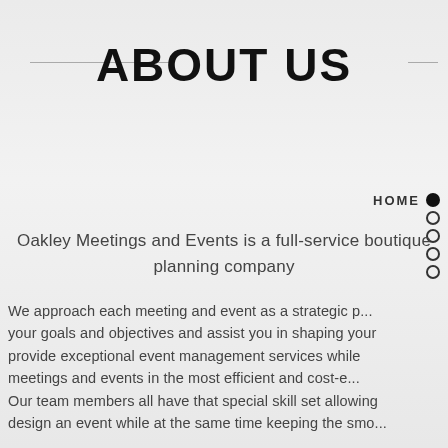ABOUT US
HOME
Oakley Meetings and Events is a full-service boutique planning company
We approach each meeting and event as a strategic p... your goals and objectives and assist you in shaping your... provide exceptional event management services while... meetings and events in the most efficient and cost-e...
Our team members all have that special skill set allowing... design an event while at the same time keeping the smo...